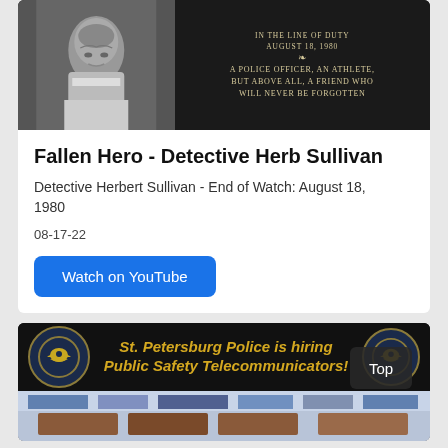[Figure (photo): Black and white photo of Detective Herb Sullivan on left; memorial plaque on right reading 'IN THE LINE OF DUTY AUGUST 18, 1980 — A POLICE OFFICER, AN ATHLETE, BUT ABOVE ALL, A FRIEND WHO WILL NEVER BE FORGOTTEN']
Fallen Hero - Detective Herb Sullivan
Detective Herbert Sullivan - End of Watch: August 18, 1980
08-17-22
Watch on YouTube
[Figure (photo): St. Petersburg Police recruitment banner with eagle badge logos and text 'St. Petersburg Police is hiring Public Safety Telecommunicators!' above a photo of a dispatch center interior. A 'Top' button overlay is visible in the bottom right.]